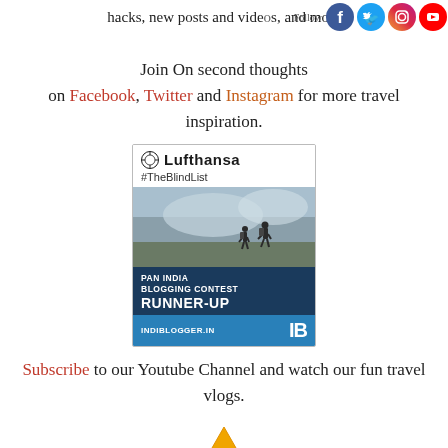hacks, new posts and videos, and more
[Figure (logo): Social media icons: Facebook, Twitter, Instagram, YouTube with Follow text]
Join On second thoughts on Facebook, Twitter and Instagram for more travel inspiration.
[Figure (infographic): Lufthansa #TheBlindList advertisement banner showing two hikers on a ridge, Pan India Blogging Contest Runner-Up, IndiiBlogger.in]
Subscribe to our Youtube Channel and watch our fun travel vlogs.
[Figure (illustration): Yellow/orange upward pointing arrow or triangle icon at bottom center]